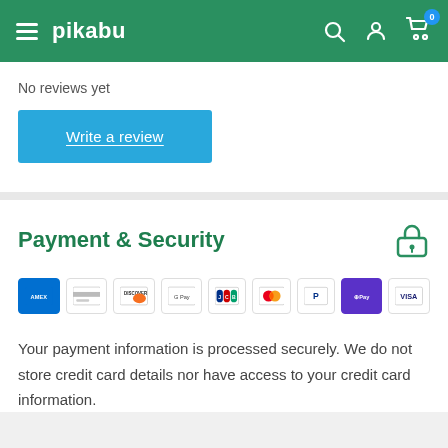pikabu
No reviews yet
Write a review
Payment & Security
[Figure (logo): Payment method logos: AMEX, generic card, Discover, Google Pay, JCB, Mastercard, PayPal, Apple Pay, Visa]
Your payment information is processed securely. We do not store credit card details nor have access to your credit card information.